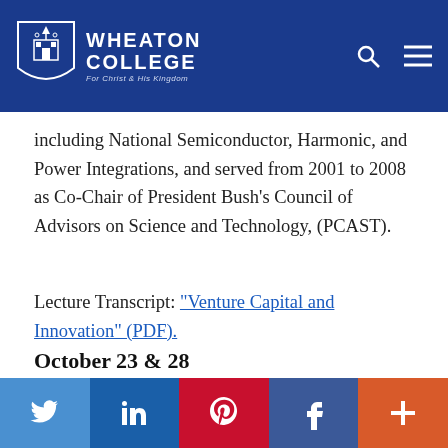Wheaton College — For Christ and His Kingdom
including National Semiconductor, Harmonic, and Power Integrations, and served from 2001 to 2008 as Co-Chair of President Bush's Council of Advisors on Science and Technology, (PCAST).
Lecture Transcript: "Venture Capital and Innovation" (PDF).
October 23 & 28
Speaker J. Dennis Hastert Student Dinners